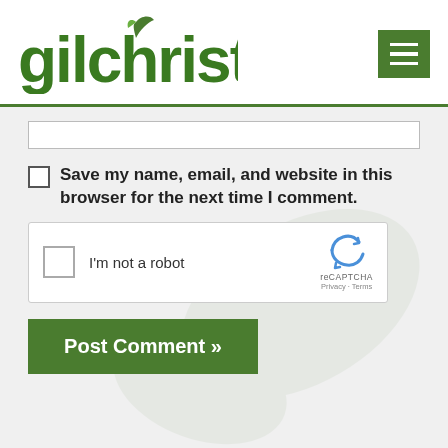gilchrist
Save my name, email, and website in this browser for the next time I comment.
[Figure (screenshot): reCAPTCHA widget with checkbox labeled 'I'm not a robot' and reCAPTCHA logo with Privacy and Terms links]
Post Comment »